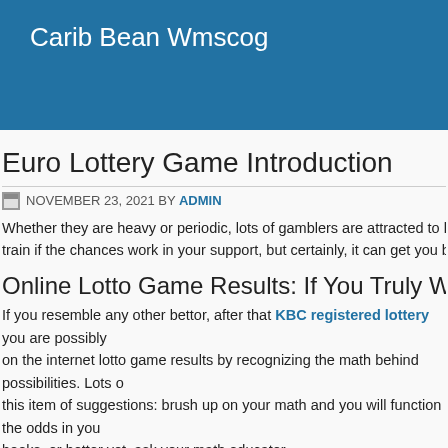Carib Bean Wmscog
Euro Lottery Game Introduction
NOVEMBER 23, 2021 BY ADMIN
Whether they are heavy or periodic, lots of gamblers are attracted to lotto. Part of the train if the chances work in your support, but certainly, it can get you bankrupt if you g
Online Lotto Game Results: If You Truly Want To W
If you resemble any other bettor, after that KBC registered lottery you are possibly on the internet lotto game results by recognizing the math behind possibilities. Lots of this item of suggestions: brush up on your math and you will function the odds in you books, or better yet, ask your math educator.
Online Lotto Results: Just How To Raise Your Possibilitie
What you can do to enhance your online lottery results is to play a system entry, or c you're playing a six-number lottery game, then select four numbers to be constants i variable.